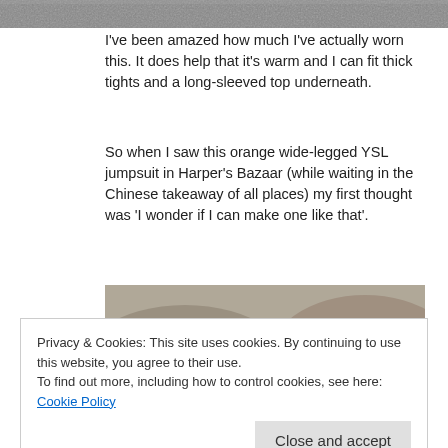[Figure (photo): Top edge of a photo, appears to be a grayscale/dark textured background, partially cropped at top of page]
I've been amazed how much I've actually worn this. It does help that it's warm and I can fit thick tights and a long-sleeved top underneath.
So when I saw this orange wide-legged YSL jumpsuit in Harper's Bazaar (while waiting in the Chinese takeaway of all places) my first thought was 'I wonder if I can make one like that'.
[Figure (photo): A woman wearing an orange wide-legged jumpsuit, reclining on large rocks, dark hair, white top visible]
Privacy & Cookies: This site uses cookies. By continuing to use this website, you agree to their use.
To find out more, including how to control cookies, see here: Cookie Policy
first though.